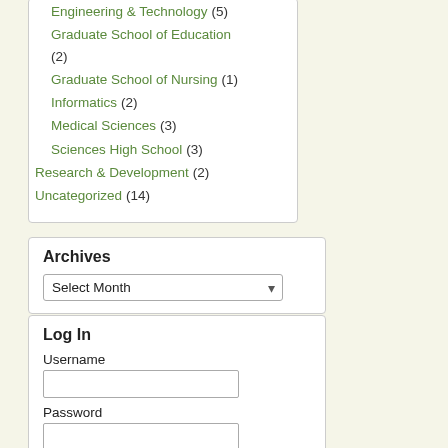Engineering & Technology (5)
Graduate School of Education (2)
Graduate School of Nursing (1)
Informatics (2)
Medical Sciences (3)
Sciences High School (3)
Research & Development (2)
Uncategorized (14)
Archives
Select Month
Log In
Username
Password
Log In
Remember Me
Lost your password?